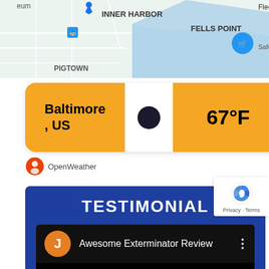[Figure (map): Google Maps view showing Inner Harbor, Fells Point, Pigtown, Fleet areas in Baltimore. Blue water bodies visible.]
[Figure (screenshot): OpenWeather widget showing Baltimore, US at 67°F with a dark circle weather icon on orange/yellow background.]
[Figure (screenshot): Testimonial section with blue background showing 'TESTIMONIAL' title and a YouTube-style video card titled 'Awesome Exterminator Review' with orange J avatar, on black background. reCAPTCHA badge in bottom right.]